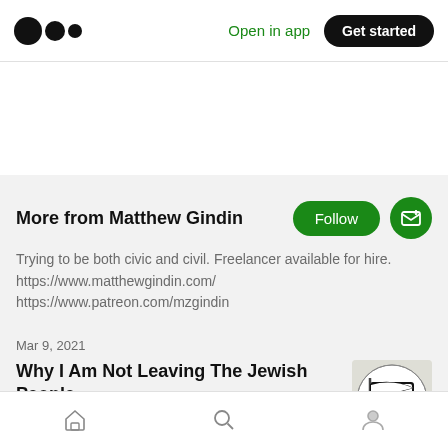Medium logo | Open in app | Get started
More from Matthew Gindin
Trying to be both civic and civil. Freelancer available for hire. https://www.matthewgindin.com/ https://www.patreon.com/mzgindin
Mar 9, 2021
Why I Am Not Leaving The Jewish People
Judaism  6 min read
Home | Search | Profile